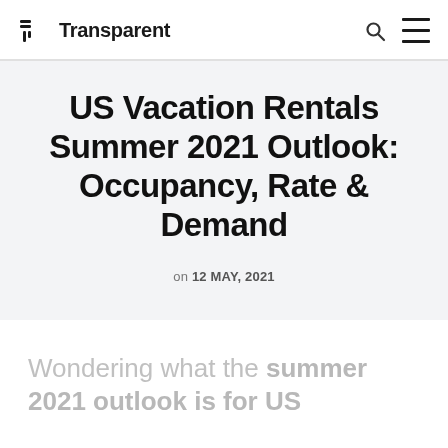Transparent
US Vacation Rentals Summer 2021 Outlook: Occupancy, Rate & Demand
on 12 MAY, 2021
Wondering what the summer 2021 outlook is for US